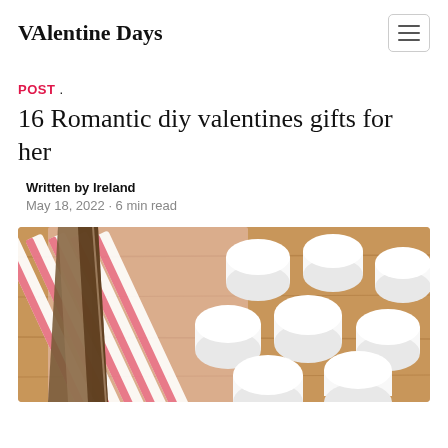VAlentine Days
POST .
16 Romantic diy valentines gifts for her
Written by Ireland
May 18, 2022 · 6 min read
[Figure (photo): Photo of white marshmallows on a wooden cutting board next to pink and white striped straws, with a knife blade visible on the left side.]